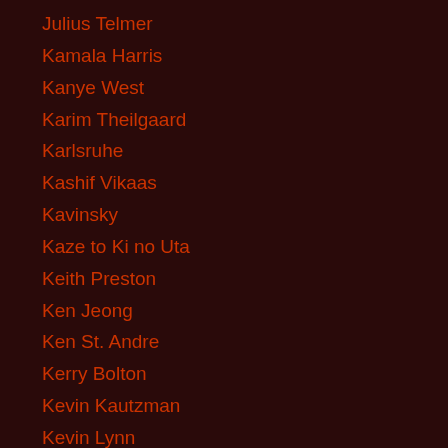Julius Telmer
Kamala Harris
Kanye West
Karim Theilgaard
Karlsruhe
Kashif Vikaas
Kavinsky
Kaze to Ki no Uta
Keith Preston
Ken Jeong
Ken St. Andre
Kerry Bolton
Kevin Kautzman
Kevin Lynn
Kevin MacDonald